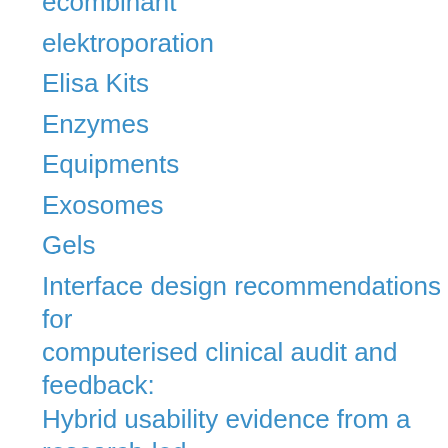ecombinant
elektroporation
Elisa Kits
Enzymes
Equipments
Exosomes
Gels
Interface design recommendations for computerised clinical audit and feedback: Hybrid usability evidence from a research-led system.
Medium & Serums
NATtrol
Particles
Pcr Kits